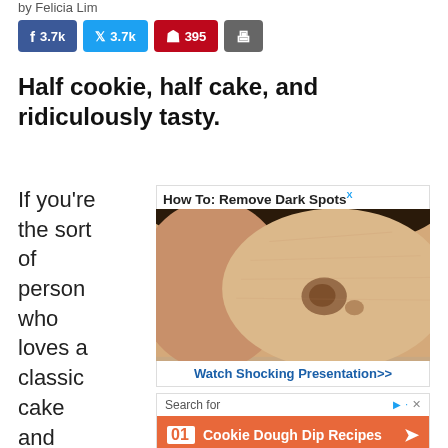by Felicia Lim
[Figure (screenshot): Social sharing buttons: Facebook 3.7k, Twitter 3.7k, Pinterest 395, Print]
Half cookie, half cake, and ridiculously tasty.
If you're the sort of person who loves a classic cake and cook
[Figure (advertisement): Ad: How To: Remove Dark Spots - photo of face with dark spot, Watch Shocking Presentation>>]
[Figure (advertisement): Search ad: Search for Cookie Dough Dip Recipes with orange background and arrow]